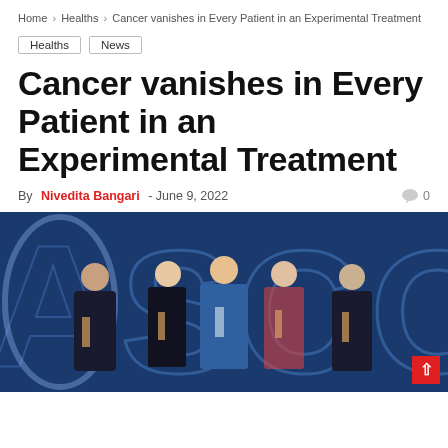Home > Healths > Cancer vanishes in Every Patient in an Experimental Treatment
Healths
News
Cancer vanishes in Every Patient in an Experimental Treatment
By Nivedita Bangari - June 9, 2022   0
[Figure (photo): Five people posing in front of a large illuminated ASCO sign with blue background. They are wearing conference lanyards/badges.]